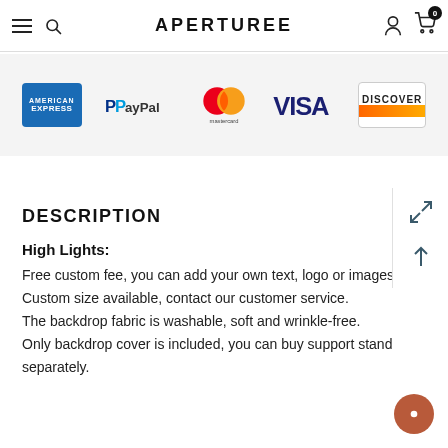APERTUREE
[Figure (logo): Payment method logos: American Express, PayPal, Mastercard, Visa, Discover]
DESCRIPTION
High Lights:
Free custom fee, you can add your own text, logo or images. Custom size available, contact our customer service. The backdrop fabric is washable, soft and wrinkle-free. Only backdrop cover is included, you can buy support stand separately.